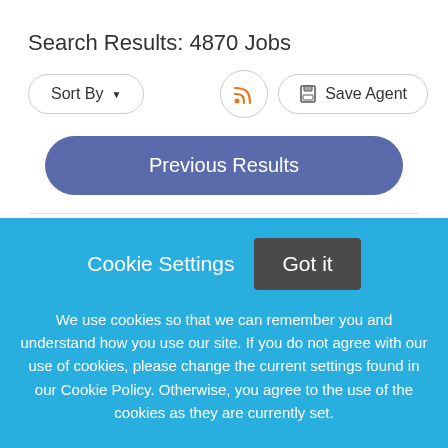Search Results: 4870 Jobs
[Figure (screenshot): Sort By dropdown button with downward arrow, RSS feed icon button (orange), and Save Agent button with disk icon]
[Figure (screenshot): Previous Results button (blue/purple pill shape)]
[Figure (logo): Partial Tenet logo with teal and orange circular icon and blue text 'Tenet' partially visible]
Cookie Settings
Got it
We use cookies so that we can remember you and understand how you use our site. If you do not agree with our use of cookies, please change the current settings found in our Cookie Policy. Otherwise, you agree to the use of the cookies as they are currently set.